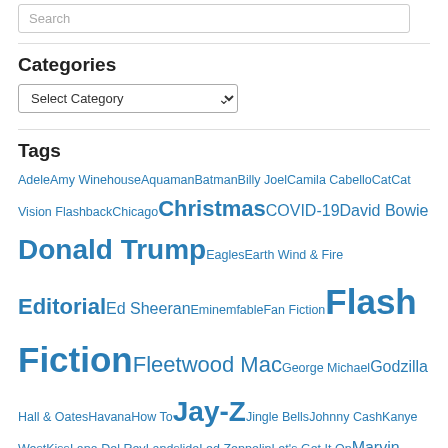Search
Categories
Select Category
Tags
Adele Amy Winehouse Aquaman Batman Billy Joel Camila Cabello Cat Cat Vision Flashback Chicago Christmas COVID-19 David Bowie Donald Trump Eagles Earth Wind & Fire Editorial Ed Sheeran Eminem fable Fan Fiction Flash Fiction Fleetwood Mac George Michael Godzilla Hall & Oates Havana How To Jay-Z Jingle Bells Johnny Cash Kanye West Kiss Lana Del Rey Landslide Led Zeppelin Let's Get It On Marvin Gaye Mash up Medley Michael Jackson News